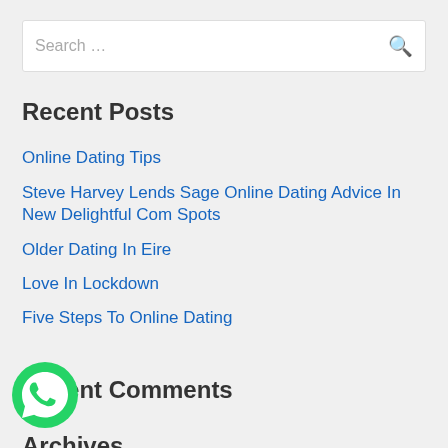Search …
Recent Posts
Online Dating Tips
Steve Harvey Lends Sage Online Dating Advice In New Delightful Com Spots
Older Dating In Eire
Love In Lockdown
Five Steps To Online Dating
Recent Comments
[Figure (illustration): WhatsApp logo green circle with phone handset icon]
Archives